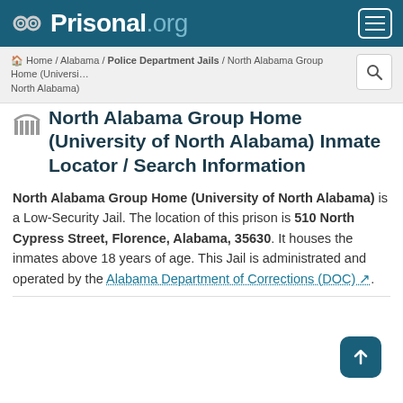Prisonal.org
Home / Alabama / Police Department Jails / North Alabama Group Home (University of North Alabama)
North Alabama Group Home (University of North Alabama) Inmate Locator / Search Information
North Alabama Group Home (University of North Alabama) is a Low-Security Jail. The location of this prison is 510 North Cypress Street, Florence, Alabama, 35630. It houses the inmates above 18 years of age. This Jail is administrated and operated by the Alabama Department of Corrections (DOC).